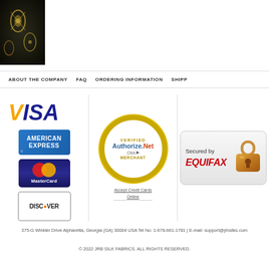[Figure (photo): Black fabric with gold embroidery pattern, top-left corner image]
ABOUT THE COMPANY | FAQ | ORDERING INFORMATION | SHIPP...
[Figure (logo): VISA logo in blue and yellow]
[Figure (logo): American Express card logo]
[Figure (logo): MasterCard logo]
[Figure (logo): Discover card logo]
[Figure (logo): Authorize.Net Verified Merchant badge with Accept Credit Cards Online link]
[Figure (logo): Secured by Equifax badge with padlock icon]
375-G Winkler Drive Alpharetta, Georgia (GA) 30004 USA Tel No: 1-678-661-1781 | E-mail: support@jrbsilks.com
© 2022 JRB SILK FABRICS. ALL RIGHTS RESERVED.